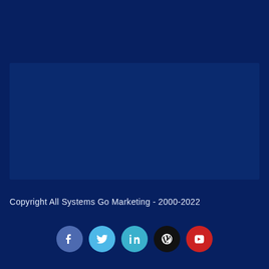[Figure (other): Dark blue rectangular box, slightly lighter shade than background, occupying center-upper area of page]
Copyright All Systems Go Marketing - 2000-2022
[Figure (infographic): Row of five social media icon circles: Facebook (blue), Twitter (light blue), LinkedIn (cyan), WordPress (black), YouTube (red)]